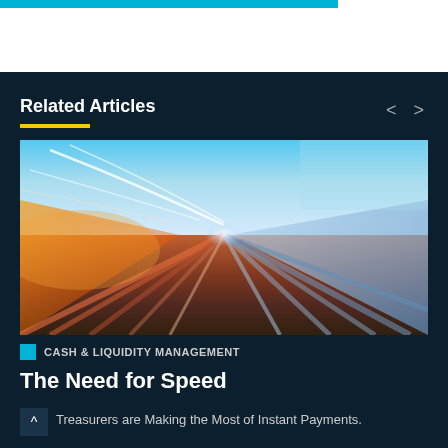Related Articles
[Figure (photo): Motion blur photograph of a highway at high speed with colorful light streaks — blue sky, orange/red road lanes, white light trails suggesting fast movement]
CASH & LIQUIDITY MANAGEMENT
The Need for Speed
Treasurers are Making the Most of Instant Payments.